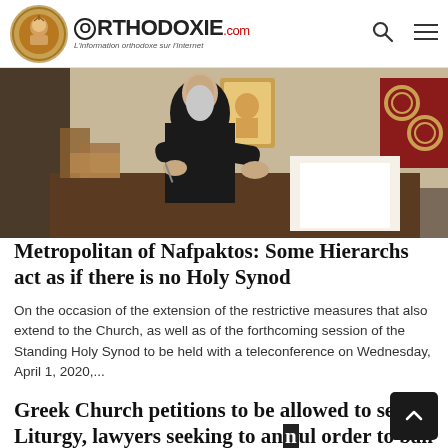ORTHODOXIE.com — L'information orthodoxe sur l'Internet
[Figure (photo): Orthodox hierarch in black robes seated at a desk, writing on paper, with religious icons visible in the background]
Metropolitan of Nafpaktos: Some Hierarchs act as if there is no Holy Synod
On the occasion of the extension of the restrictive measures that also extend to the Church, as well as of the forthcoming session of the Standing Holy Synod to be held with a teleconference on Wednesday, April 1, 2020,...
Greek Church petitions to be allowed to serve Liturgy, lawyers seeking to annul order to ban Church services